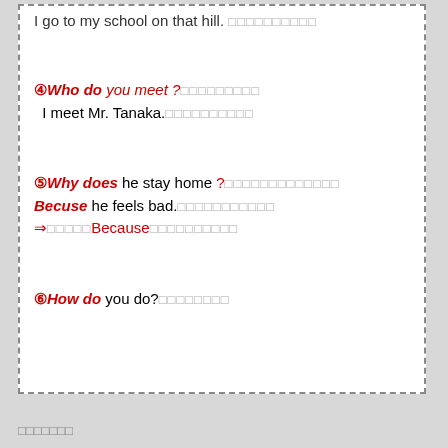I go to my school on that hill. □□□□□□□□□□
④Who do you meet ?□□□□□□□□□
I meet Mr. Tanaka.□□□□□□□□□□
⑤Why does he stay home ?□□□□□□□□□□□□□
Becuse he feels bad.□□□□□□□□□□□
⇒□□□□□Because□□□□□□□□□□
⑥How do you do?□□□□□□□□
□□□□□□□